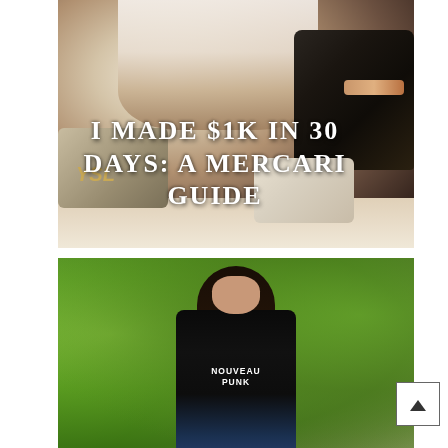[Figure (photo): Photo of a woman in a white dress surrounded by luxury handbags (YSL, Louis Vuitton) on a bed, with overlaid white bold serif text reading 'I MADE $1K IN 30 DAYS: A MERCARI GUIDE']
I MADE $1K IN 30 DAYS: A MERCARI GUIDE
[Figure (photo): Photo of a young woman with long dark hair wearing a black jacket and a black t-shirt that reads 'NOUVEAU PUNK', standing in front of green trees outdoors]